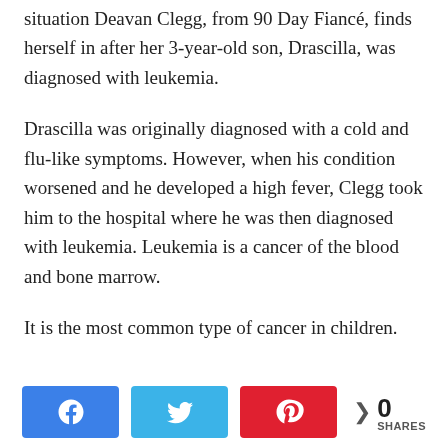situation Deavan Clegg, from 90 Day Fiancé, finds herself in after her 3-year-old son, Drascilla, was diagnosed with leukemia.
Drascilla was originally diagnosed with a cold and flu-like symptoms. However, when his condition worsened and he developed a high fever, Clegg took him to the hospital where he was then diagnosed with leukemia. Leukemia is a cancer of the blood and bone marrow.
It is the most common type of cancer in children.